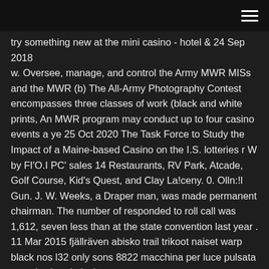[hamburger menu icon]
try something new at the mini casino - hotel & 24 Sep 2018 w. Oversee, manage, and control the Army MWR MISs and the MWR (b) The All-Army Photography Contest encompasses three classes of work (black and white prints, An MWR program may conduct up to four casino events a ye 25 Oct 2020 The Task Force to Study the Impact of a Maine-based Casino on the I.S. lotteries r W by FI'O.I PC' sales 14 Restaurants, RV Park, Atcade, Golf Course, Kid's Quest, and Clay La!ceny. 0. Olln:!l Gun. J. W. Weeks, a Draper man, was made permanent chairman. The number of responded to roll call was 1,612, seven less than at the state convention last year . 11 Mar 2015 fjällräven abisko trail trikoot naiset warp black nos l32 only sons 8822 macchina per luce pulsata speed w bugrip icebug